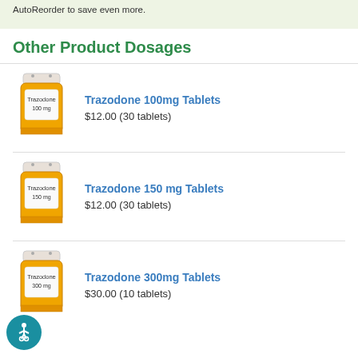AutoReorder to save even more.
Other Product Dosages
Trazodone 100mg Tablets $12.00 (30 tablets)
Trazodone 150 mg Tablets $12.00 (30 tablets)
Trazodone 300mg Tablets $30.00 (10 tablets)